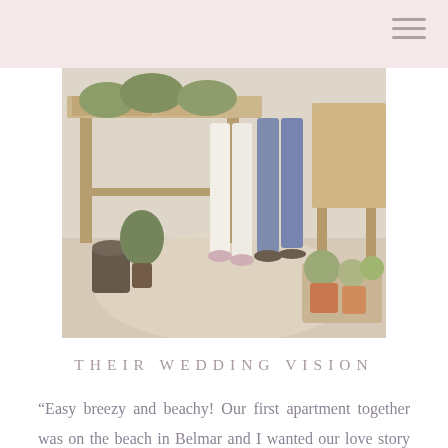[Figure (photo): A couple walking through what appears to be a plant nursery or garden market. Their legs are visible against a background of wooden tables filled with potted plants and succulents. The image is bright and softly lit.]
THEIR WEDDING VISION
“Easy breezy and beachy! Our first apartment together was on the beach in Belmar and I wanted our love story to continue with a beach background. We’re